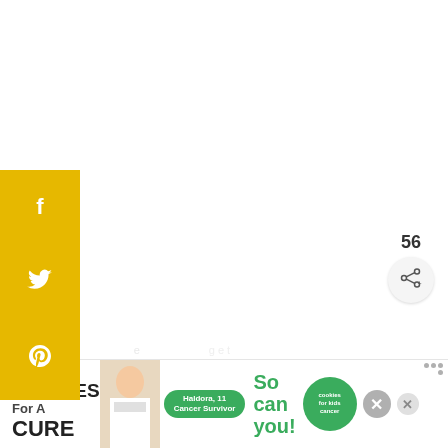[Figure (screenshot): Three small gray dots/squares near top center of page, navigation or loading indicator]
[Figure (infographic): Yellow social sharing sidebar on the left with Facebook (f), Twitter (bird), and Pinterest (p) icons in white on gold background]
[Figure (infographic): Teal circular heart/like button showing count 56, and a share button below it, on the right side]
[Figure (infographic): What's Next widget with arrow: 'WHAT'S NEXT →' label and 'Easy Tips for Getting Kids...' text with thumbnail image]
[Figure (screenshot): Advertisement banner: 'I Bake COOKIES For A CURE' with Haldora 11 Cancer Survivor badge, girl photo, 'So can you!' text, cookies for kids cancer logo, and close button]